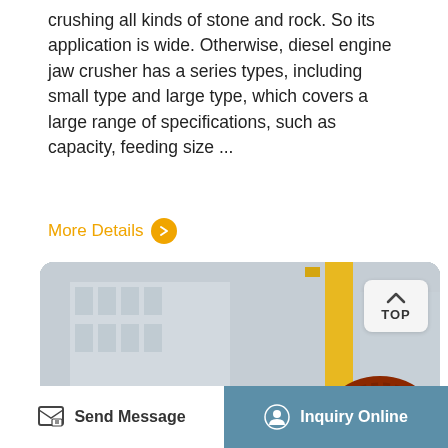crushing all kinds of stone and rock. So its application is wide. Otherwise, diesel engine jaw crusher has a series types, including small type and large type, which covers a large range of specifications, such as capacity, feeding size ...
More Details
[Figure (photo): Two large orange industrial ball mills or grinding machines with gear rings, parked on stands outdoors in front of a factory building. A yellow crane structure is visible in the background. A 'TOP' navigation button appears in the upper-right corner of the image.]
Send Message
Inquiry Online